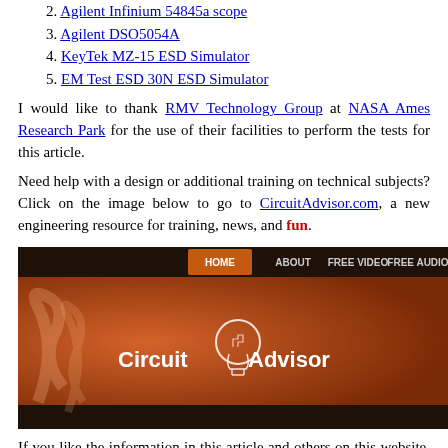2. Agilent Infinium 54845a scope
3. Agilent DSO5054A
4. KeyTek MZ-15 ESD Simulator
5. EM Test ESD 30N ESD Simulator
I would like to thank RMV Technology Group at NASA Ames Research Park for the use of their facilities to perform the tests for this article.
Need help with a design or additional training on technical subjects? Click on the image below to go to CircuitAdvisor.com, a new engineering resource for training, news, and fun.
[Figure (screenshot): Screenshot of CircuitAdvisor.com website banner showing navigation menu with HOME, ABOUT, FREE VIDEO, FREE AUDIO, BECOME A MEMBER tabs, and Circuit Advisor logo with lightbulb icon on orange/brown background]
If you like the information in this article and others on this website, much more information is available in my courses. Click here to